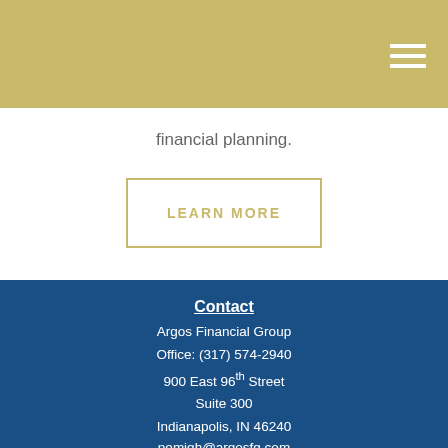financial planning.
LEARN MORE
Contact
Argos Financial Group
Office: (317) 574-2940
900 East 96th Street
Suite 300
Indianapolis, IN 46240
pemigh@argosfg.com